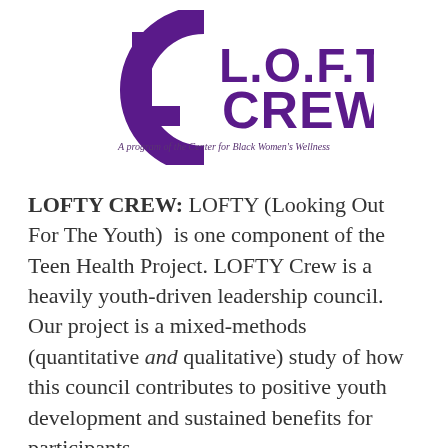[Figure (logo): LOFTY CREW logo with purple LC monogram and text 'L.O.F.T.Y CREW' with tagline 'A program of the Center for Black Women's Wellness']
LOFTY CREW: LOFTY (Looking Out For The Youth) is one component of the Teen Health Project. LOFTY Crew is a heavily youth-driven leadership council. Our project is a mixed-methods (quantitative and qualitative) study of how this council contributes to positive youth development and sustained benefits for participants.